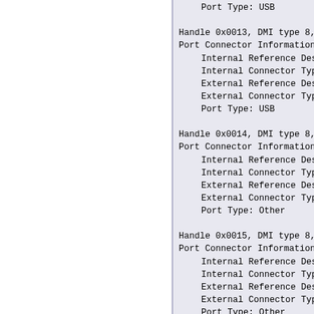Port Type: USB

Handle 0x0013, DMI type 8, 9 byt
Port Connector Information
    Internal Reference Desig
    Internal Connector Type:
    External Reference Desig
    External Connector Type:
    Port Type: USB

Handle 0x0014, DMI type 8, 9 byt
Port Connector Information
    Internal Reference Desig
    Internal Connector Type:
    External Reference Desig
    External Connector Type:
    Port Type: Other

Handle 0x0015, DMI type 8, 9 byt
Port Connector Information
    Internal Reference Desig
    Internal Connector Type:
    External Reference Desig
    External Connector Type:
    Port Type: Other

Handle 0x0016, DMI type 8, 9 byt
Port Connector Information
    Internal Reference Desig
    Internal Connector Type:
    External Reference Desig
    External Connector Type:
    Port Type: Other